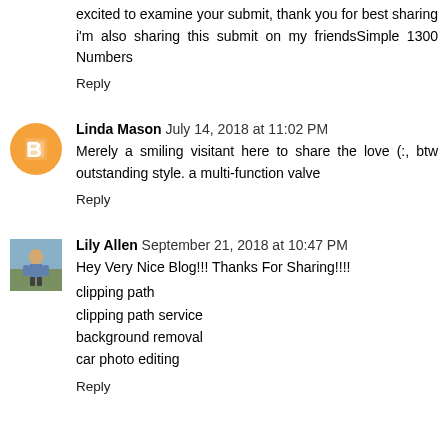excited to examine your submit, thank you for best sharing i'm also sharing this submit on my friendsSimple 1300 Numbers
Reply
Linda Mason  July 14, 2018 at 11:02 PM
Merely a smiling visitant here to share the love (:, btw outstanding style. a multi-function valve
Reply
Lily Allen  September 21, 2018 at 10:47 PM
Hey Very Nice Blog!!! Thanks For Sharing!!!!
clipping path
clipping path service
background removal
car photo editing
Reply